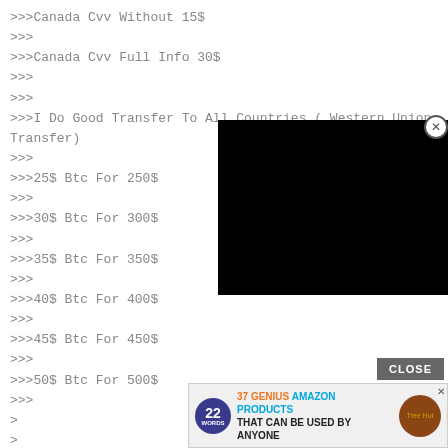>>>>Canada Cvv Without 15$
>>>>
>>>>Canada Cvv Full Info 30$
>>>>
>>>>
>>>>I Do Good Transfer To All Countries ( Western Union Transfer)
>>>>
>>>>25$ Btc For 250$
>>>>
>>>>30$ Btc For 300$
>>>>
>>>>35$ Btc For 350$
>>>>
>>>>40$ Btc For 400$
>>>>
>>>>45$ Btc For 450$
>>>>
>>>>50$ Btc For 500$
>>>>
>
>
[Figure (screenshot): Black popup video overlay with close button and CLOSE bar]
[Figure (screenshot): Advertisement banner: 37 Genius Amazon Products That Can Be Used By Anyone with product image]